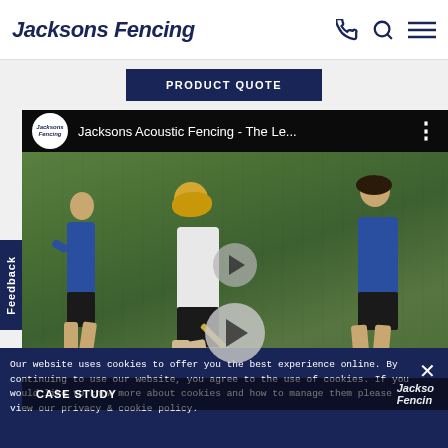Jacksons Fencing
PRODUCT QUOTE
[Figure (screenshot): YouTube video embed showing Jacksons Acoustic Fencing - The Le... with field hockey players in the thumbnail. Has a play button overlay and case study label at bottom.]
CASE STUDY
Our website uses cookies to offer you the best experience online. By continuing to use our website, you agree to the use of cookies. If you would like to know more about cookies and how to manage them please view our privacy & cookie policy.